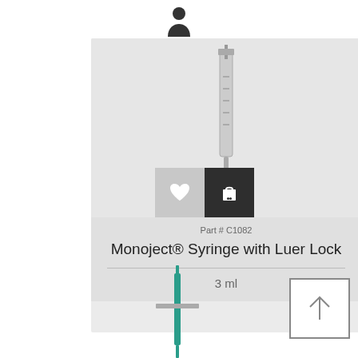[Figure (screenshot): Person/user icon silhouette at top center]
[Figure (photo): Medical product card showing a Monoject syringe with Luer Lock, gray background, with heart and shopping cart action buttons, part number C1082, 3 ml size]
[Figure (photo): Small syringe with teal/green plunger at bottom center of page]
[Figure (other): Square button with upward arrow icon at bottom right]